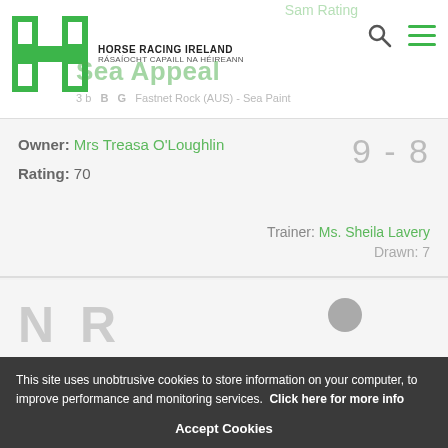HORSE RACING IRELAND / RÁSAÍOCHT CAPAILL NA HÉIREANN
Sea Appeal
3 b  B  G  Fasnet Rock (AUS) - Sea Paint
Owner: Mrs Treasa O'Loughlin
Rating: 70
9 - 8
Trainer: Ms. Sheila Lavery
Drawn: 7
N R
This site uses unobtrusive cookies to store information on your computer, to improve performance and monitoring services. Click here for more info
Accept Cookies